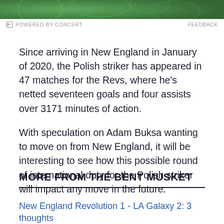[Figure (photo): Green decorative banner image at top of page]
POWERED BY CONCERT  FEEDBACK
Since arriving in New England in January of 2020, the Polish striker has appeared in 47 matches for the Revs, where he's netted seventeen goals and four assists over 3171 minutes of action.
With speculation on Adam Buksa wanting to move on from New England, it will be interesting to see how this possible round of international duty for the Polish striker will impact any move in the future.
MORE FROM THE BENT MUSKET
New England Revolution 1 - LA Galaxy 2: 3 thoughts
Know Thy Enemy: Revolution vs LA Galaxy Crazy Eights